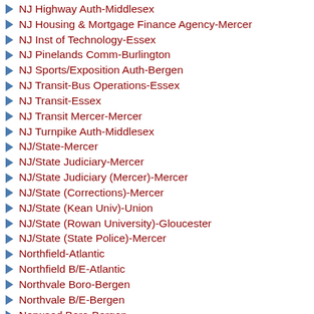NJ Highway Auth-Middlesex
NJ Housing & Mortgage Finance Agency-Mercer
NJ Inst of Technology-Essex
NJ Pinelands Comm-Burlington
NJ Sports/Exposition Auth-Bergen
NJ Transit-Bus Operations-Essex
NJ Transit-Essex
NJ Transit Mercer-Mercer
NJ Turnpike Auth-Middlesex
NJ/State-Mercer
NJ/State Judiciary-Mercer
NJ/State Judiciary (Mercer)-Mercer
NJ/State (Corrections)-Mercer
NJ/State (Kean Univ)-Union
NJ/State (Rowan University)-Gloucester
NJ/State (State Police)-Mercer
Northfield-Atlantic
Northfield B/E-Atlantic
Northvale Boro-Bergen
Northvale B/E-Bergen
Norwood Boro-Bergen